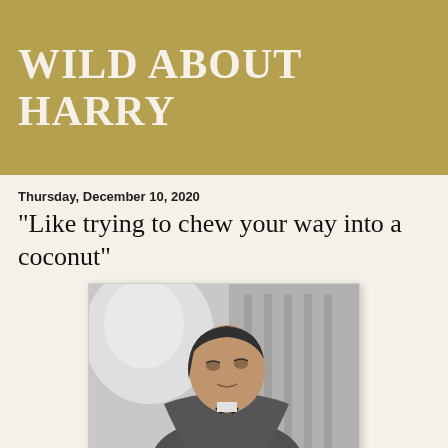WILD ABOUT HARRY
Thursday, December 10, 2020
"Like trying to chew your way into a coconut"
[Figure (photo): Black and white photograph of a man, William Lindsay, looking slightly to the side, wearing a bow tie and suit jacket.]
Here's a wonderful letter from noted novelist William Lindsay